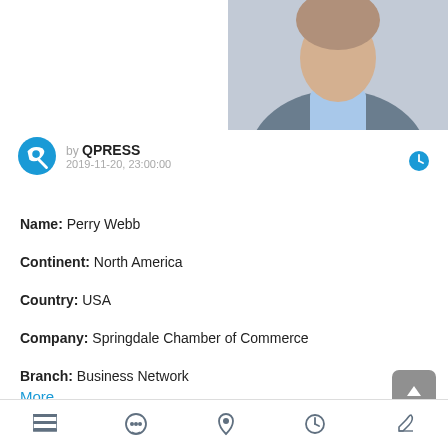[Figure (photo): Partial photo of a person in a gray blazer and blue turtleneck, cropped to show upper body and partial face, positioned in the top-right corner]
by QPRESS
2019-11-20, 23:00:00
Name: Perry Webb
Continent: North America
Country: USA
Company: Springdale Chamber of Commerce
Branch: Business Network
Position: CEO & President
Reason: Retired
More
0 points